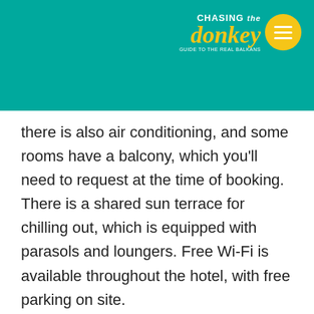[Figure (logo): Chasing the Donkey travel blog logo with teal background, yellow circular menu button]
there is also air conditioning, and some rooms have a balcony, which you'll need to request at the time of booking. There is a shared sun terrace for chilling out, which is equipped with parasols and loungers. Free Wi-Fi is available throughout the hotel, with free parking on site.
This is an excellent choice for couples and small groups who want to relax away from the busy nature of the Old Town but also